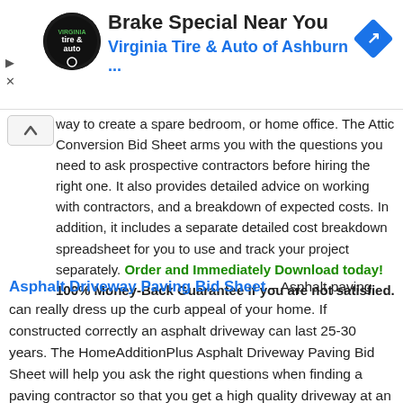[Figure (screenshot): Advertisement banner for Virginia Tire & Auto of Ashburn with logo, title 'Brake Special Near You', subtitle 'Virginia Tire & Auto of Ashburn ...', and a blue diamond navigation icon on the right.]
way to create a spare bedroom, or home office. The Attic Conversion Bid Sheet arms you with the questions you need to ask prospective contractors before hiring the right one. It also provides detailed advice on working with contractors, and a breakdown of expected costs. In addition, it includes a separate detailed cost breakdown spreadsheet for you to use and track your project separately. Order and Immediately Download today! 100% Money-Back Guarantee if you are not satisfied.
Asphalt Driveway Paving Bid Sheet – Asphalt paving can really dress up the curb appeal of your home. If constructed correctly an asphalt driveway can last 25-30 years. The HomeAdditionPlus Asphalt Driveway Paving Bid Sheet will help you ask the right questions when finding a paving contractor so that you get a high quality driveway at an affordable price. Order and Immediately Download today! 100% Money-Back Guarantee if you are not satisfied.